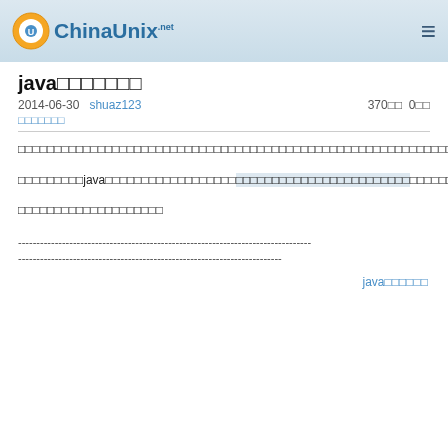ChinaUnix.net
java□□□□□□□
2014-06-30  shuaz123  370□□  0□□
□□□□□□□
□□□□□□□□□□□□□□□□□□□□□□□□□□□□□□□□□□□□□□□□□□□□□□□□□□□□□□□□□□□□□□□□□□
□□□□□□□□□java□□□□□□□□□□□□□□□□□□□□□□□□□□□□□□□□□□□□□□□□□□□□□□□□□□□□□□□□□□□□□□□□□□□□□□□□□□□□□□□□□□□□□□□□□□□□□□□□□□□□□□□□□□
□□□□□□□□□□□□□□□□□□□□
--------------------------------------------------------------------------------
------------------------------------------------------------------------
java□□□□□□